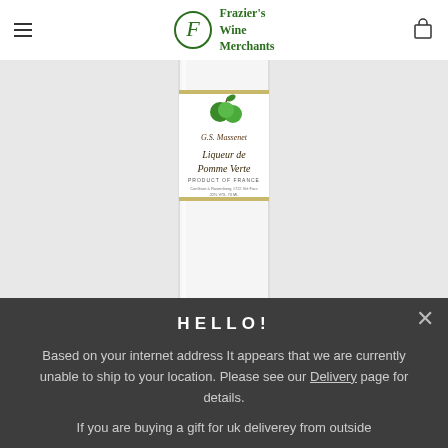Frazier's Wine Merchants
[Figure (photo): A bottle of G.S. Massenet Liqueur de Pomme Verte, Product of France. The bottle has a white label with green apple illustration and script lettering on a clear/white glass bottle.]
HELLO!
Based on your internet address It appears that we are currently unable to ship to your location. Please see our Delivery page for details.
If you are buying a gift for uk deliverey from outside